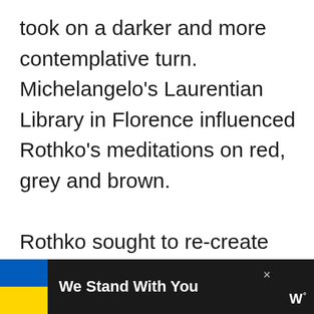took on a darker and more contemplative turn. Michelangelo's Laurentian Library in Florence influenced Rothko's meditations on red, grey and brown.

Rothko sought to re-create the library's claustrophobic and sepulchral atmosphere. At the
[Figure (infographic): Advertisement banner at the bottom of the page showing Ukrainian flag colors (blue and yellow) with text 'We Stand With You', a close button (×), and a media logo (W°) on dark background.]